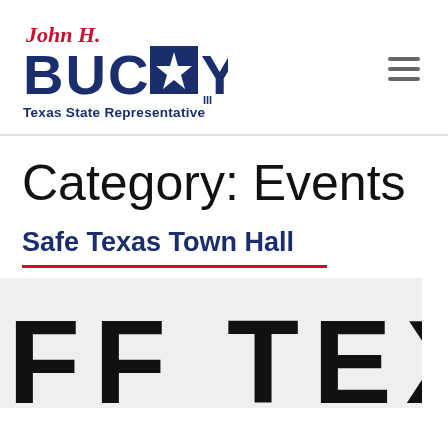[Figure (logo): John H. Bucy III Texas State Representative logo with red italic 'John H.' text, large bold dark blue 'BUCY' with a star embedded, and subtitle 'Texas State Representative']
Category: Events
Safe Texas Town Hall
[Figure (photo): Partially visible promotional image showing large bold letters 'FF TEX' cropped at bottom of page]